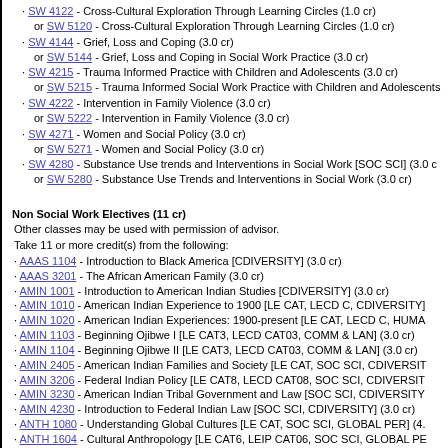· SW 4122 - Cross-Cultural Exploration Through Learning Circles (1.0 cr) or SW 5120 - Cross-Cultural Exploration Through Learning Circles (1.0 cr)
· SW 4144 - Grief, Loss and Coping (3.0 cr) or SW 5144 - Grief, Loss and Coping in Social Work Practice (3.0 cr)
· SW 4215 - Trauma Informed Practice with Children and Adolescents (3.0 cr) or SW 5215 - Trauma Informed Social Work Practice with Children and Adolescents
· SW 4222 - Intervention in Family Violence (3.0 cr) or SW 5222 - Intervention in Family Violence (3.0 cr)
· SW 4271 - Women and Social Policy (3.0 cr) or SW 5271 - Women and Social Policy (3.0 cr)
· SW 4280 - Substance Use trends and Interventions in Social Work [SOC SCI] (3.0 cr) or SW 5280 - Substance Use Trends and Interventions in Social Work (3.0 cr)
Non Social Work Electives (11 cr)
Other classes may be used with permission of advisor.
Take 11 or more credit(s) from the following:
· AAAS 1104 - Introduction to Black America [CDIVERSITY] (3.0 cr)
· AAAS 3201 - The African American Family (3.0 cr)
· AMIN 1001 - Introduction to American Indian Studies [CDIVERSITY] (3.0 cr)
· AMIN 1010 - American Indian Experience to 1900 [LE CAT, LECD C, CDIVERSITY]
· AMIN 1020 - American Indian Experiences: 1900-present [LE CAT, LECD C, HUMA
· AMIN 1103 - Beginning Ojibwe I [LE CAT3, LECD CAT03, COMM & LAN] (3.0 cr)
· AMIN 1104 - Beginning Ojibwe II [LE CAT3, LECD CAT03, COMM & LAN] (3.0 cr)
· AMIN 2405 - American Indian Families and Society [LE CAT, SOC SCI, CDIVERSIT
· AMIN 3206 - Federal Indian Policy [LE CAT8, LECD CAT08, SOC SCI, CDIVERSIT
· AMIN 3230 - American Indian Tribal Government and Law [SOC SCI, CDIVERSITY
· AMIN 4230 - Introduction to Federal Indian Law [SOC SCI, CDIVERSITY] (3.0 cr)
· ANTH 1080 - Understanding Global Cultures [LE CAT, SOC SCI, GLOBAL PER] (4.
· ANTH 1604 - Cultural Anthropology [LE CAT6, LEIP CAT06, SOC SCI, GLOBAL PE
· ANTH 1620 - Introduction to Public Culture: Earth Citizenship, Science, and Culture
· ANTH 3156 - Digital and Participatory Research Methods (4.0 cr)
· ANTH 3300 - Energy, Culture and Society [GLOBAL PER] (4.0 cr)
· ANTH 3628 - Women in Cross-Cultural Perspective (3.0 cr)
· ANTH 4500 - The New Commons: Governing Shared Resources for Present and Fu
· ANTH 4616 - Culture and Personality (3.0 cr)
· ANTH 4652 - Cultural Theory for Wicked Problems (4.0 cr)
· ASL 4416 - Deaf Culture (3.0 cr)